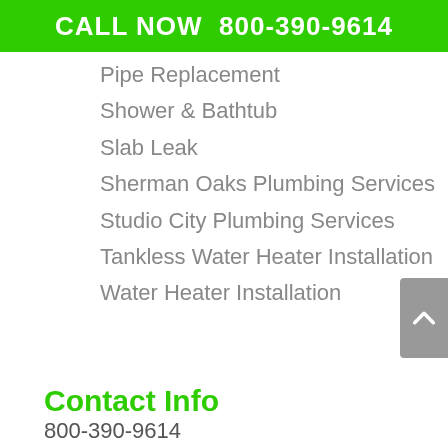CALL NOW  800-390-9614
Pipe Replacement
Shower & Bathtub
Slab Leak
Sherman Oaks Plumbing Services
Studio City Plumbing Services
Tankless Water Heater Installation
Water Heater Installation
Contact Info
800-390-9614